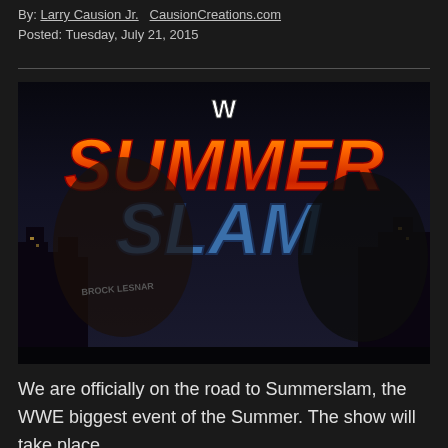By: Larry Causion Jr.  CausionCreations.com
Posted: Tuesday, July 21, 2015
[Figure (photo): WWE SummerSlam promotional image featuring Brock Lesnar on the left in a black Brock Lesnar t-shirt and The Undertaker on the right in a black hooded coat, with large orange 'SUMMER' text and blue 'SLAM' text against a city skyline background at night, with the WWE logo at the top.]
We are officially on the road to Summerslam, the WWE biggest event of the Summer. The show will take place